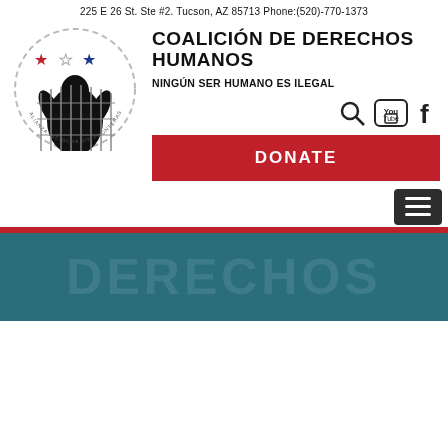225 E 26 St. Ste #2. Tucson, AZ 85713 Phone:(520)-770-1373
[Figure (logo): Circular logo with dashed border showing silhouette of person behind chain-link fence, with red, white, and blue stars above]
COALICIÓN DE DERECHOS HUMANOS
NINGÚN SER HUMANO ES ILEGAL
[Figure (infographic): Search icon, YouTube icon, and Facebook icon in a row]
DONATE
[Figure (infographic): Hamburger menu button (three horizontal lines) on dark background]
[Figure (photo): Teal/dark blue banner section with faint large text overlay]